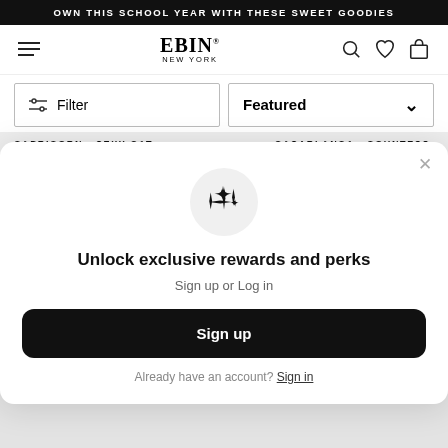OWN THIS SCHOOL YEAR WITH THESE SWEET GOODIES
[Figure (screenshot): EBIN New York e-commerce website navigation bar with hamburger menu, EBIN NEW YORK logo, search icon, heart/wishlist icon, and shopping bag icon]
[Figure (screenshot): Filter button with sliders icon and Featured sort dropdown]
CAPRICORN - SEXY CAT   CASABLANCA - COUNTESS
[Figure (infographic): Modal popup: Unlock exclusive rewards and perks. Sign up or Log in. Sign up button. Already have an account? Sign in.]
Unlock exclusive rewards and perks
Sign up or Log in
Sign up
Already have an account? Sign in